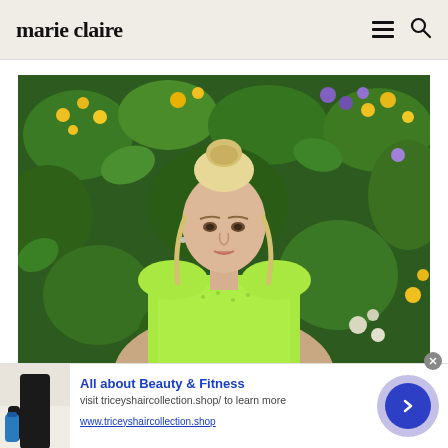marie claire
[Figure (photo): A blonde woman with hair in a bun, wearing a sparkly lime-green top, posing in front of a lush floral green wall with yellow, purple, and white flowers.]
[Figure (photo): Advertisement: person in black outfit holding a blue water bottle]
All about Beauty & Fitness
visit triceyshaircollection.shop/ to learn more
www.triceyshaircollection.shop